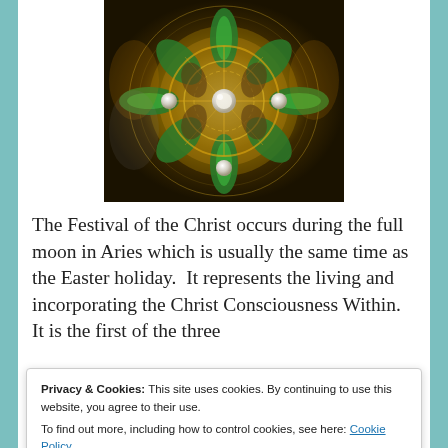[Figure (illustration): A decorative mandala-style digital artwork featuring green and gold geometric patterns, resembling a stained-glass or kaleidoscopic design with pearl accents against a dark background.]
The Festival of the Christ occurs during the full moon in Aries which is usually the same time as the Easter holiday.  It represents the living and incorporating the Christ Consciousness Within.  It is the first of the three
Privacy & Cookies: This site uses cookies. By continuing to use this website, you agree to their use.
To find out more, including how to control cookies, see here: Cookie Policy
the Mastery Pathway.